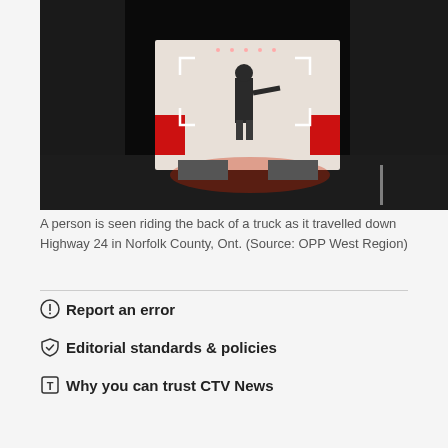[Figure (photo): Night-time photo of a person standing on the back of a large truck travelling down a highway, seen from behind. The truck has illuminated red taillights and a white cargo area. There is a white vehicle on the left side. The setting is dark with a road visible below.]
A person is seen riding the back of a truck as it travelled down Highway 24 in Norfolk County, Ont. (Source: OPP West Region)
Report an error
Editorial standards & policies
Why you can trust CTV News